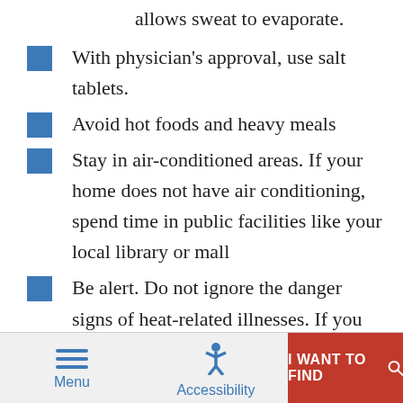allows sweat to evaporate.
With physician's approval, use salt tablets.
Avoid hot foods and heavy meals
Stay in air-conditioned areas. If your home does not have air conditioning, spend time in public facilities like your local library or mall
Be alert. Do not ignore the danger signs of heat-related illnesses. If you feel uncomfortable, take a break. If symptoms persist, contact a health care professional.
Menu  Accessibility  I WANT TO FIND